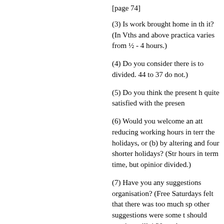[page 74]
(3) Is work brought home in th it? (In Vths and above practica varies from ½ - 4 hours.)
(4) Do you consider there is to divided. 44 to 37 do not.)
(5) Do you think the present h quite satisfied with the presen
(6) Would you welcome an att reducing working hours in ter the holidays, or (b) by altering and four shorter holidays? (Str hours in term time, but opinior divided.)
(7) Have you any suggestions organisation? (Free Saturdays felt that there was too much sp other suggestions were some t should continue till 4.30, and t